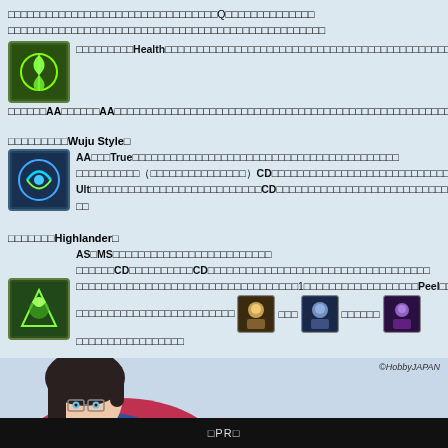□□□□□□□□□□□□□□□□□□□□□□□□□□□□□□□□□Q□□□□□□□□□□□□□□□□□□□□□□□□□□□□□□□□□□□□□□□□□□□□□□□□□□□□□□□□□□□□□□□□□□
□□□□□□□□□Health□□□□□□□□□□□□□□□□□□□□□□□□□□□□□□□□□□□□□□□□□□□□□□□□□□□□□□□□□□□□□□□□□□□
□□□□□□AA□□□□□□AA□□□□□□□□□□□□□□□□□□□□□□□□□□□□□□□□□□□□□□□□□□□□□□□□□□□□□□□□□□□□□□□□□□□□□□□□□□□□□□□□□□□□□□
□□□□□□□□□Wuju Style□
AA□□□True□□□□□□□□□□□□□□□□□□□□□□□□□□□□□□□□□□□□□□□□□□□□□□□□(□□□□□□□□□□□□□□□□)□CD□□□□□□□□□□□□□□□□□□□□□□□□□□□□□□□Ult□□□□□□□□□□□□□□□□□□□□□□□□□CD□□□□□□□□□□□□□□□□□□□□□□□□□□□□□□□□□□
□□□□□□□Highlander□
AS□MS□□□□□□□□□□□□□□□□□□□□□□□□□
□□□□□□CD□□□□□□□□□□CD□□□□□□□□□□□□□□□□□□□□□□□□□□□□□□□□□□□□□1□□□□□□□□□□□□□□□□□□Peel□□□□□□□□□□□□□□□□□□□□□□□□□□□□□□□□□□□□□□□□□□□□□□□□□□□□
[Figure (illustration): Anime character illustration at bottom of page, female character in school uniform]
©HobbyJAPAN
□PR□